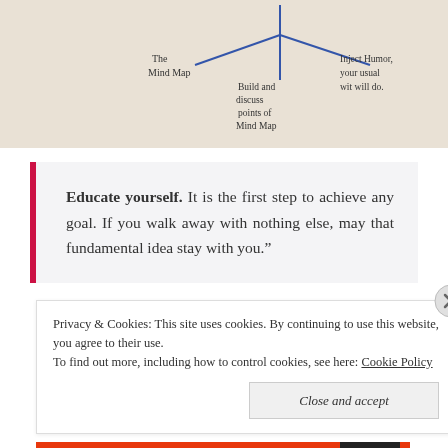[Figure (illustration): Handwritten mind map on paper showing branches: 'The Mind Map', 'Build and discuss points of Mind Map', 'Inject Humor, your usual wit will do.' connected by blue lines.]
Educate yourself. It is the first step to achieve any goal. If you walk away with nothing else, may that fundamental idea stay with you."
Privacy & Cookies: This site uses cookies. By continuing to use this website, you agree to their use. To find out more, including how to control cookies, see here: Cookie Policy